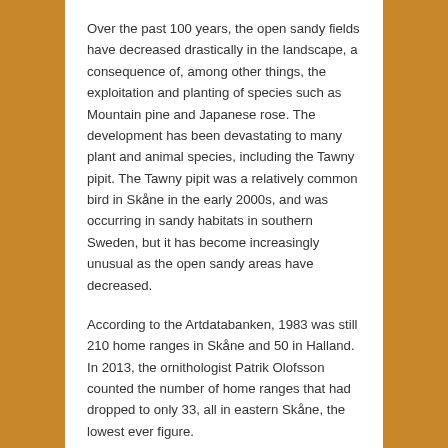Over the past 100 years, the open sandy fields have decreased drastically in the landscape, a consequence of, among other things, the exploitation and planting of species such as Mountain pine and Japanese rose. The development has been devastating to many plant and animal species, including the Tawny pipit. The Tawny pipit was a relatively common bird in Skåne in the early 2000s, and was occurring in sandy habitats in southern Sweden, but it has become increasingly unusual as the open sandy areas have decreased.
According to the Artdatabanken, 1983 was still 210 home ranges in Skåne and 50 in Halland. In 2013, the ornithologist Patrik Olofsson counted the number of home ranges that had dropped to only 33, all in eastern Skåne, the lowest ever figure.
Clear rise at the end of Sand Life
After the restoration actions in Sand Life, with removal of pine trees and Japanese rose and increasing the amount...